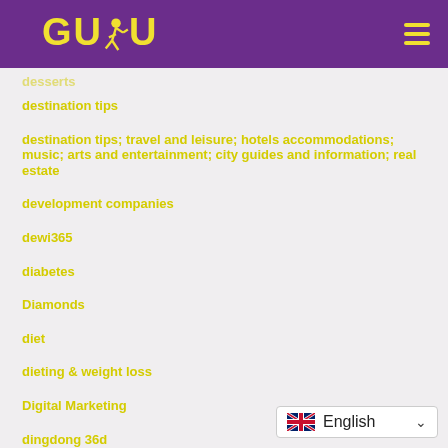[Figure (logo): GUDU logo with running figure, yellow on purple background, with hamburger menu icon]
desserts
destination tips
destination tips; travel and leisure; hotels accommodations; music; arts and entertainment; city guides and information; real estate
development companies
dewi365
diabetes
Diamonds
diet
dieting & weight loss
Digital Marketing
dingdong 36d
Disability
[Figure (other): Language selector widget showing UK flag and English text with dropdown chevron]